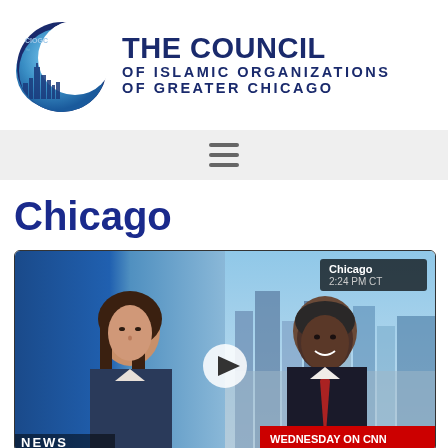[Figure (logo): Council of Islamic Organizations of Greater Chicago (CIOGC) logo — crescent moon and city skyline graphic with organization name text]
[Figure (other): Hamburger menu icon (three horizontal lines) on a light gray navigation bar]
Chicago
[Figure (screenshot): CNN video thumbnail showing a female news anchor on the left and a man on the right with a Chicago cityscape in background. Overlay text: Chicago 2:24 PM CT. Play button icon in center. WEDNESDAY ON CNN lower third.]